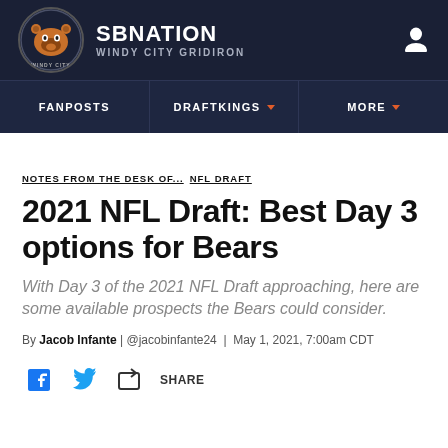SB NATION — WINDY CITY GRIDIRON
FANPOSTS | DRAFTKINGS | MORE
NOTES FROM THE DESK OF... NFL DRAFT
2021 NFL Draft: Best Day 3 options for Bears
With Day 3 of the 2021 NFL Draft approaching, here are some available prospects the Bears could consider.
By Jacob Infante | @jacobinfante24 | May 1, 2021, 7:00am CDT